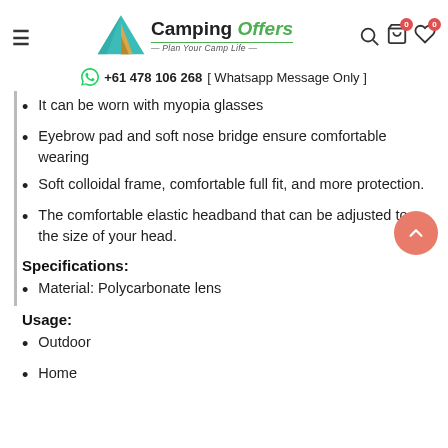Camping Offers — Plan Your Camp Life — +61 478 106 268 [ Whatsapp Message Only ]
It can be worn with myopia glasses
Eyebrow pad and soft nose bridge ensure comfortable wearing
Soft colloidal frame, comfortable full fit, and more protection.
The comfortable elastic headband that can be adjusted to the size of your head.
Specifications:
Material: Polycarbonate lens
Usage:
Outdoor
Home